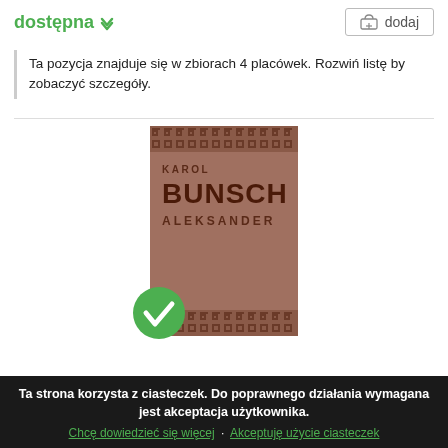dostępna
dodaj
Ta pozycja znajduje się w zbiorach 4 placówek. Rozwiń listę by zobaczyć szczegóły.
[Figure (photo): Book cover: brown/mauve colored book with greek key border pattern at top and bottom. Text reads KAROL BUNSCH ALEKSANDER. Green checkmark circle overlaid at bottom left corner of book.]
Ta strona korzysta z ciasteczek. Do poprawnego działania wymagana jest akceptacja użytkownika.
Chcę dowiedzieć się więcej · Akceptuję użycie ciasteczek